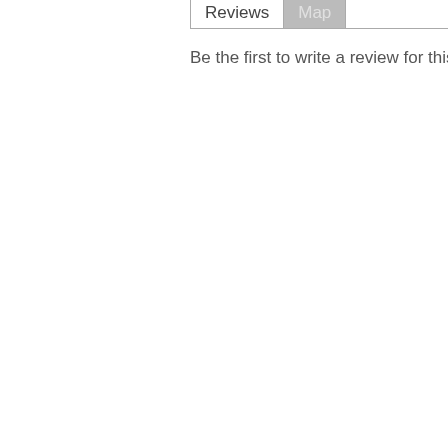Reviews | Map
Be the first to write a review for this restau...